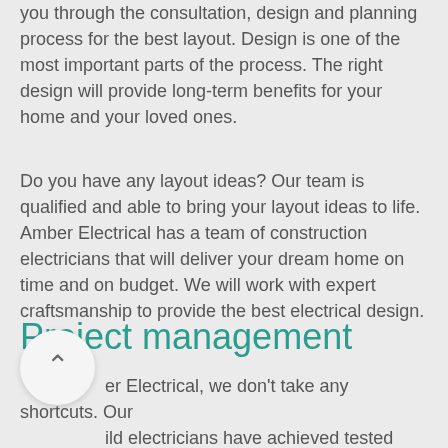you through the consultation, design and planning process for the best layout. Design is one of the most important parts of the process. The right design will provide long-term benefits for your home and your loved ones.
Do you have any layout ideas? Our team is qualified and able to bring your layout ideas to life. Amber Electrical has a team of construction electricians that will deliver your dream home on time and on budget. We will work with expert craftsmanship to provide the best electrical design.
Project management
er Electrical, we don't take any shortcuts. Our ild electricians have achieved tested results over countless years of project management. Project management is key to an excellent finished product.